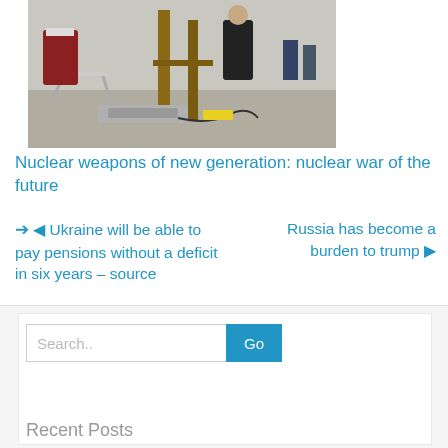[Figure (photo): People working outdoors with woodworking equipment, a saw table and lumber frame structure visible, with other workers in the background on a concrete surface.]
Nuclear weapons of new generation: nuclear war of the future
◀ Ukraine will be able to pay pensions without a deficit in six years – source
Russia has become a burden to trump ▶
Search..
Recent Posts